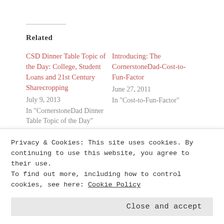Related
CSD Dinner Table Topic of the Day: College, Student Loans and 21st Century Sharecropping
July 9, 2013
In "CornerstoneDad Dinner Table Topic of the Day"
Introducing: The CornerstoneDad-Cost-to-Fun-Factor
June 27, 2011
In "Cost-to-Fun-Factor"
Detroit Man Walks 21 Miles ONE WAY To Work & Has A Perfect
Privacy & Cookies: This site uses cookies. By continuing to use this website, you agree to their use.
To find out more, including how to control cookies, see here: Cookie Policy
Close and accept